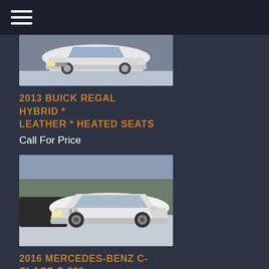[Figure (photo): White 2013 Buick Regal Hybrid sedan photographed in snowy conditions, front three-quarter view]
2013 BUICK REGAL HYBRID * LEATHER * HEATED SEATS
Call For Price
[Figure (photo): White 2016 Mercedes-Benz C-Class C 300 4MATIC sedan photographed in snowy parking lot, front three-quarter view]
2016 MERCEDES-BENZ C-CLASS C 300 4MATIC*NAVIGATIO